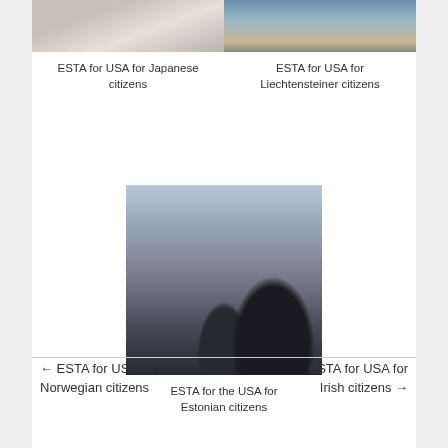[Figure (photo): Partial photo of people in white clothing, cropped at top]
ESTA for USA for Japanese citizens
[Figure (photo): Partial photo of a waterfront or dock scene, cropped at top]
ESTA for USA for Liechtensteiner citizens
[Figure (photo): Photo of a person sitting on a rocky cliff edge with mountain and hazy sky in background]
ESTA for the USA for Estonian citizens
← ESTA for USA for Norwegian citizens
ESTA for USA for Irish citizens →